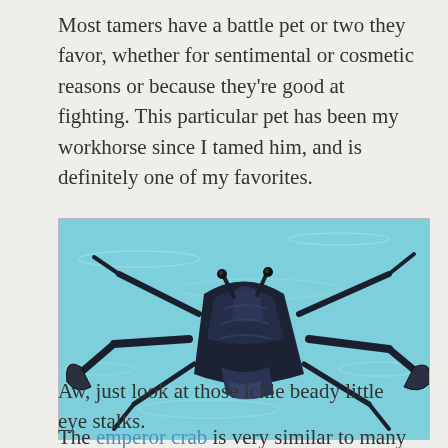Most tamers have a battle pet or two they favor, whether for sentimental or cosmetic reasons or because they're good at fighting. This particular pet has been my workhorse since I tamed him, and is definitely one of my favorites.
[Figure (photo): A dark-colored emperor crab rendered in 3D game graphics, shown against a light blue water background. The crab has a dark metallic/blue-black shell, long angular legs, large claws, and prominent eye stalks.]
Aw, just look at those ickle beady little eye stalks.
The emperor crab is very similar to many other crabs. If